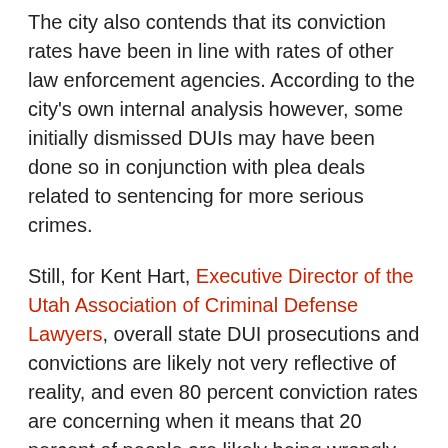The city also contends that its conviction rates have been in line with rates of other law enforcement agencies. According to the city's own internal analysis however, some initially dismissed DUIs may have been done so in conjunction with plea deals related to sentencing for more serious crimes.
Still, for Kent Hart, Executive Director of the Utah Association of Criminal Defense Lawyers, overall state DUI prosecutions and convictions are likely not very reflective of reality, and even 80 percent conviction rates are concerning when it means that 20 percent of people are likely being wrongly arrested.
“DUIs are really based on scientific evidence,” Hart says. “And we give [cops] these tools and send them out and